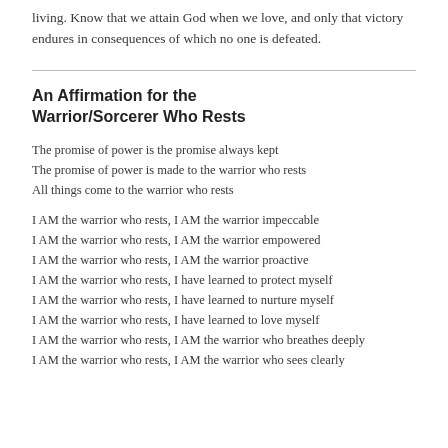living. Know that we attain God when we love, and only that victory endures in consequences of which no one is defeated.
An Affirmation for the Warrior/Sorcerer Who Rests
The promise of power is the promise always kept
The promise of power is made to the warrior who rests
All things come to the warrior who rests
I AM the warrior who rests, I AM the warrior impeccable
I AM the warrior who rests, I AM the warrior empowered
I AM the warrior who rests, I AM the warrior proactive
I AM the warrior who rests, I have learned to protect myself
I AM the warrior who rests, I have learned to nurture myself
I AM the warrior who rests, I have learned to love myself
I AM the warrior who rests, I AM the warrior who breathes deeply
I AM the warrior who rests, I AM the warrior who sees clearly